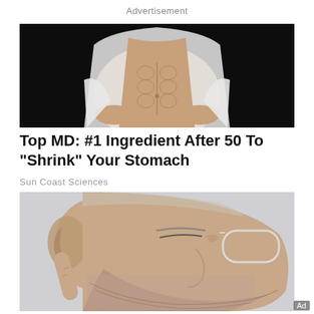Advertisement
[Figure (photo): Close-up of a fit person lifting their white shirt to reveal toned abdominal muscles, dark background]
Top MD: #1 Ingredient After 50 To "Shrink" Your Stomach
Sun Coast Sciences
[Figure (photo): Close-up side profile of a middle-aged bearded man wearing glasses, with a finger near his ear, against a light grey background]
Ad